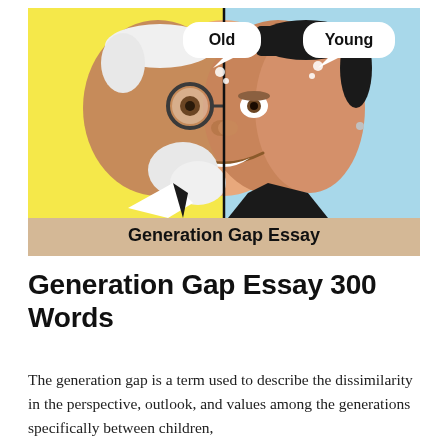[Figure (illustration): Split-face illustration showing an old man on the left side (yellow background, white speech bubble labeled 'Old', elderly man with glasses and white beard) and a young man on the right side (blue background, speech bubble labeled 'Young', young man with dark hair). Text at the bottom of the image reads 'Generation Gap Essay' on a tan/beige banner.]
Generation Gap Essay 300 Words
The generation gap is a term used to describe the dissimilarity in the perspective, outlook, and values among the generations specifically between children,